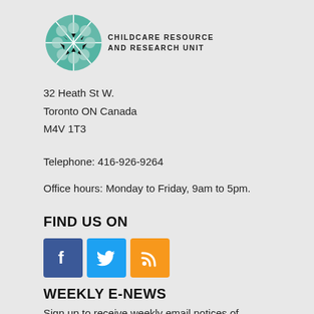[Figure (logo): Childcare Resource and Research Unit logo: circular arrangement of children's faces in teal/green segments with arrows, accompanied by text 'CHILDCARE RESOURCE AND RESEARCH UNIT']
32 Heath St W.
Toronto ON Canada
M4V 1T3
Telephone: 416-926-9264
Office hours: Monday to Friday, 9am to 5pm.
FIND US ON
[Figure (infographic): Three social media icons side by side: Facebook (blue square with white 'f'), Twitter (light blue square with white bird), RSS (orange square with white RSS signal icon)]
WEEKLY E-NEWS
Sign up to receive weekly email notices of